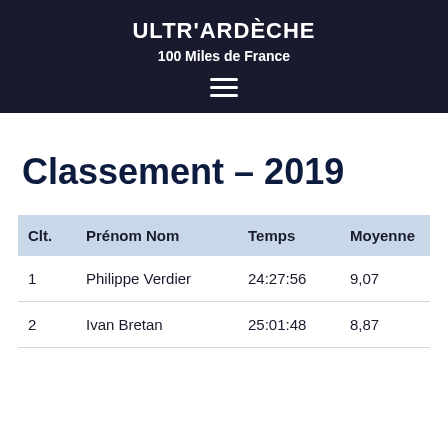ULTR'ARDÈCHE
100 Miles de France
Classement – 2019
| Clt. | Prénom Nom | Temps | Moyenne |
| --- | --- | --- | --- |
| 1 | Philippe Verdier | 24:27:56 | 9,07 |
| 2 | Ivan Bretan | 25:01:48 | 8,87 |